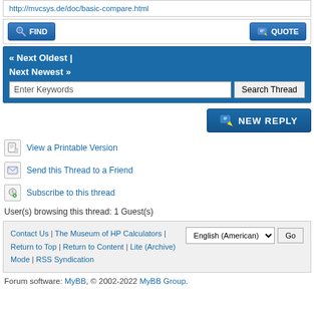http://mvcsys.de/doc/basic-compare.html
FIND | QUOTE
« Next Oldest | Next Newest »  Enter Keywords  Search Thread
NEW REPLY
View a Printable Version
Send this Thread to a Friend
Subscribe to this thread
User(s) browsing this thread: 1 Guest(s)
Contact Us | The Museum of HP Calculators | Return to Top | Return to Content | Lite (Archive) Mode | RSS Syndication  English (American) Go
Forum software: MyBB, © 2002-2022 MyBB Group.